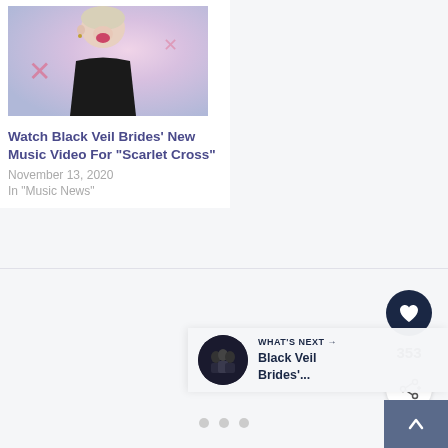[Figure (photo): Photo of a person with short blonde hair, mouth open wide, wearing a dark jacket, against a pink/purple lighting background]
Watch Black Veil Brides' New Music Video For “Scarlet Cross”
November 13, 2020
In “Music News”
[Figure (illustration): Heart/like icon button (dark navy circle with white heart)]
353
[Figure (illustration): Share icon button (white circle with share symbol)]
[Figure (photo): Thumbnail image of Black Veil Brides band members - dark circular thumbnail]
WHAT'S NEXT → Black Veil Brides'...